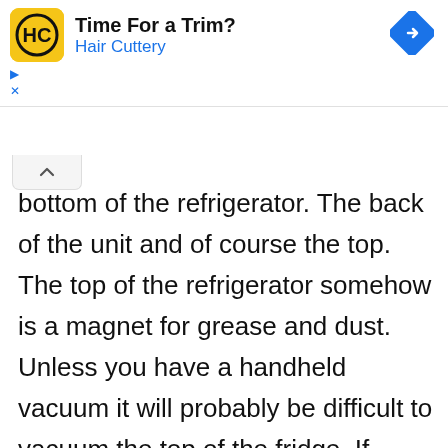[Figure (other): Hair Cuttery advertisement banner with yellow HC logo, title 'Time For a Trim?', subtitle 'Hair Cuttery', and a blue diamond navigation icon on the right]
bottom of the refrigerator. The back of the unit and of course the top. The top of the refrigerator somehow is a magnet for grease and dust. Unless you have a handheld vacuum it will probably be difficult to vacuum the top of the fridge. If that's the case use a dry Swiffer pad to remove the initial dust. If it's caked on with grease, use